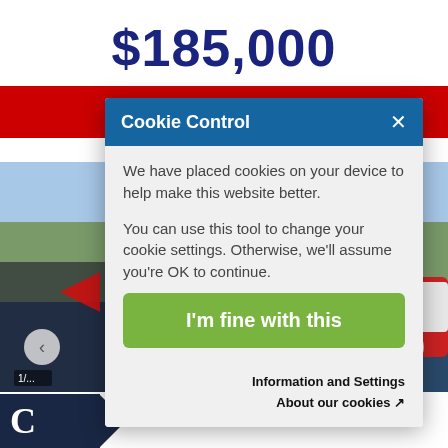$185,000
Request Info
[Figure (photo): Red boat moored at a marina with houses and trees in the background, partially obscured by cookie consent modal]
Cookie Control
We have placed cookies on your device to help make this website better.
You can use this tool to change your cookie settings. Otherwise, we'll assume you're OK to continue.
I'm fine with this
Information and Settings
About our cookies
C